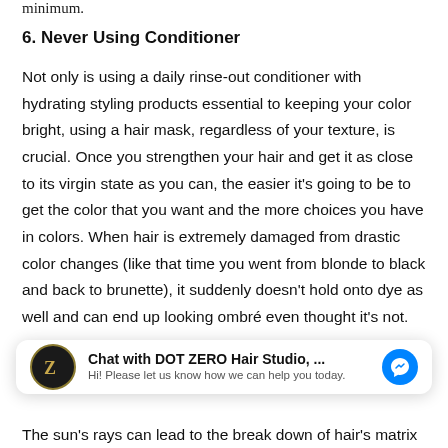minimum.
6. Never Using Conditioner
Not only is using a daily rinse-out conditioner with hydrating styling products essential to keeping your color bright, using a hair mask, regardless of your texture, is crucial. Once you strengthen your hair and get it as close to its virgin state as you can, the easier it's going to be to get the color that you want and the more choices you have in colors. When hair is extremely damaged from drastic color changes (like that time you went from blonde to black and back to brunette), it suddenly doesn't hold onto dye as well and can end up looking ombré even thought it's not.
[Figure (screenshot): Chat widget for DOT ZERO Hair Studio with messenger icon. Title: 'Chat with DOT ZERO Hair Studio, ...' Subtitle: 'Hi! Please let us know how we can help you today.']
The sun's rays can lead to the break down of hair's matrix